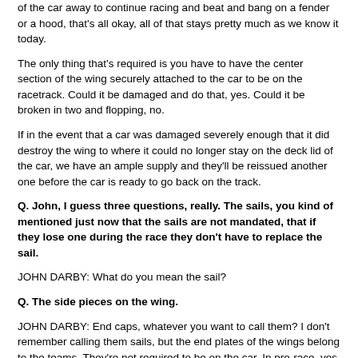of the car away to continue racing and beat and bang on a fender or a hood, that's all okay, all of that stays pretty much as we know it today.
The only thing that's required is you have to have the center section of the wing securely attached to the car to be on the racetrack. Could it be damaged and do that, yes. Could it be broken in two and flopping, no.
If in the event that a car was damaged severely enough that it did destroy the wing to where it could no longer stay on the deck lid of the car, we have an ample supply and they'll be reissued another one before the car is ready to go back on the track.
Q. John, I guess three questions, really. The sails, you kind of mentioned just now that the sails are not mandated, that if they lose one during the race they don't have to replace the sail.
JOHN DARBY: What do you mean the sail?
Q. The side pieces on the wing.
JOHN DARBY: End caps, whatever you want to call them? I don't remember calling them sails, but the end plates of the wings belong to the teams. They're not required to be on the car. In pre‑race, yes, but if you damage one on the racetrack you can continue on.
Q. Could you quantify why Biffle's car was low? Was it damage that caused it, or was it physically something the team engineered it to do?